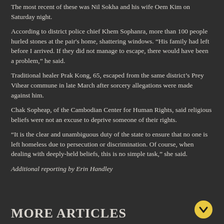The most recent of these was Nil Sokha and his wife Oem Kim on Saturday night.
According to district police chief Khem Sophanra, more than 100 people hurled stones at the pair's home, shattering windows. “His family had left before I arrived. If they did not manage to escape, there would have been a problem,” he said.
Traditional healer Prak Kong, 65, escaped from the same district’s Prey Vihear commune in late March after sorcery allegations were made against him.
Chak Sopheap, of the Cambodian Center for Human Rights, said religious beliefs were not an excuse to deprive someone of their rights.
“It is the clear and unambiguous duty of the state to ensure that no one is left homeless due to persecution or discrimination. Of course, when dealing with deeply-held beliefs, this is no simple task,” she said.
Additional reporting by Erin Handley
MORE ARTICLES